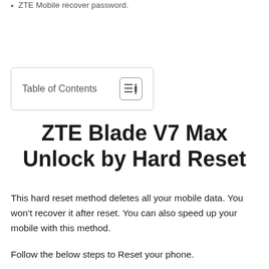ZTE Mobile recover password.
[Figure (other): Table of Contents toggle button box with icon]
ZTE Blade V7 Max Unlock by Hard Reset
This hard reset method deletes all your mobile data. You won't recover it after reset. You can also speed up your mobile with this method.
Follow the below steps to Reset your phone.